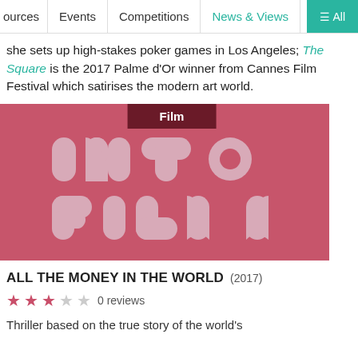ources | Events | Competitions | News & Views | ≡ All
she sets up high-stakes poker games in Los Angeles; The Square is the 2017 Palme d'Or winner from Cannes Film Festival which satirises the modern art world.
[Figure (logo): Into Film logo on red/pink background with 'Film' label badge at top]
ALL THE MONEY IN THE WORLD (2017)
★★★☆☆ 0 reviews
Thriller based on the true story of the world's